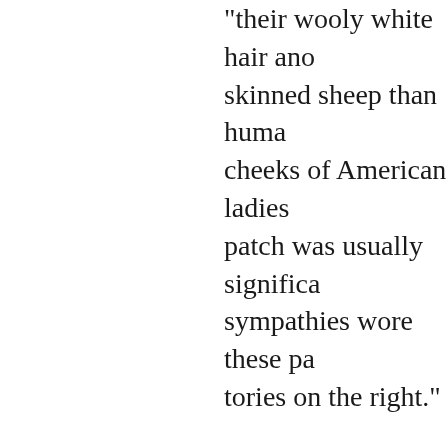"their wooly white hair and skinned sheep than huma cheeks of American ladies patch was usually significa sympathies wore these pa tories on the right."
Every woman of fashion c china, or tortoise-shell. Its looking-glass. With the as near the corner of her eye on the middle of the chee one on the lips, and so on the eighteenth century wh strange that while so man appeared in the New Engl portraits of this period wea case, hanging from the wa scent bottle." was worn h